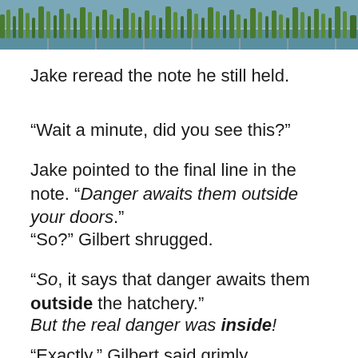[Figure (photo): Outdoor photo showing green reeds/grasses near water with a fence or railing visible in the background]
Jake reread the note he still held.
“Wait a minute, did you see this?”
Jake pointed to the final line in the note. “Danger awaits them outside your doors.”
“So?” Gilbert shrugged.
“So, it says that danger awaits them outside the hatchery.”
But the real danger was inside!
“Exactly,” Gilbert said grimly.
“That still doesn’t explain why you gave Pecky to us,” said Jake.